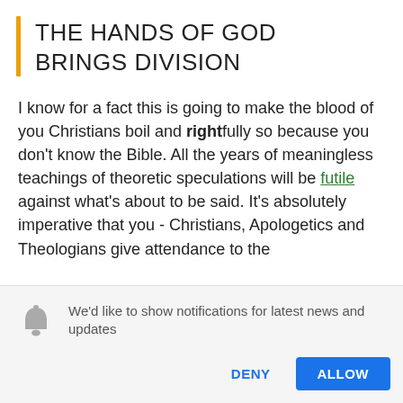THE HANDS OF GOD BRINGS DIVISION
I know for a fact this is going to make the blood of you Christians boil and rightfully so because you don't know the Bible. All the years of meaningless teachings of theoretic speculations will be futile against what's about to be said. It's absolutely imperative that you - Christians, Apologetics and Theologians give attendance to the
We'd like to show notifications for latest news and updates